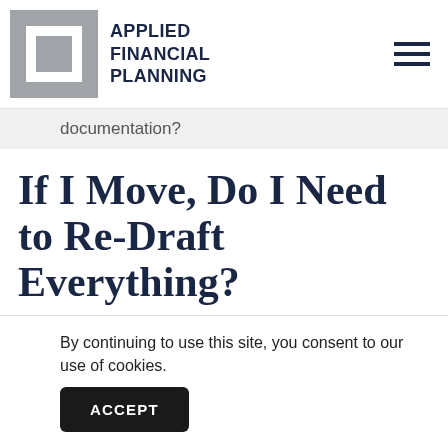[Figure (logo): Applied Financial Planning logo with grey square icon and dark navy text]
documentation?
If I Move, Do I Need to Re-Draft Everything?
Typically your will is good from one state to the next so long as it was in good standing in the state where you fi... a...
By continuing to use this site, you consent to our use of cookies.